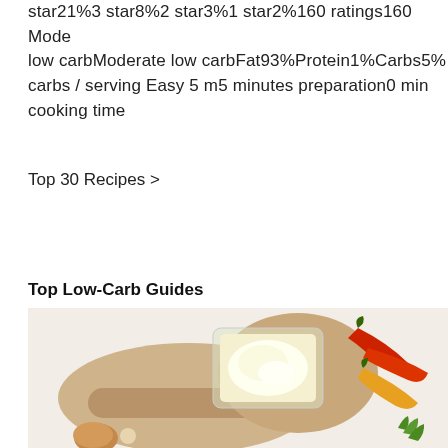star21%3 star8%2 star3%1 star2%160 ratings160 Moderate low carbModerate low carbFat93%Protein1%Carbs5% carbs / serving Easy 5 m5 minutes preparation0 min cooking time
Top 30 Recipes >
Top Low-Carb Guides
[Figure (photo): A wooden cutting board with a spatula, a glass container of cream/butter, an egg, and colorful chili peppers on a white background. Kitchen food photography scene.]